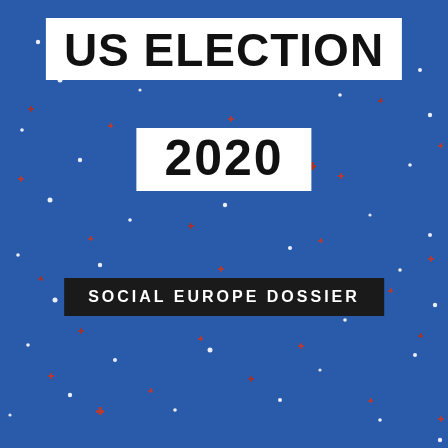[Figure (illustration): Cover page with dark blue background scattered with small white and red star/dot shapes throughout]
US ELECTION 2020
SOCIAL EUROPE DOSSIER